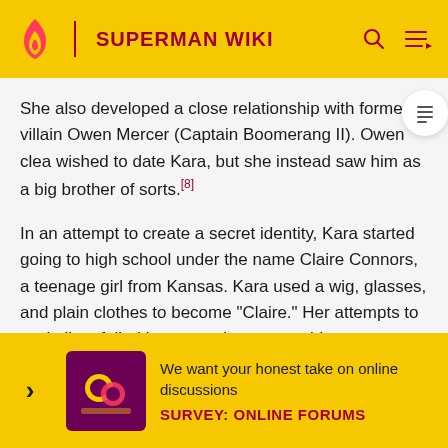SUPERMAN WIKI
She also developed a close relationship with former-villain Owen Mercer (Captain Boomerang II). Owen clearly wished to date Kara, but she instead saw him as a big brother of sorts.[8]
In an attempt to create a secret identity, Kara started going to high school under the name Claire Connors, a teenage girl from Kansas. Kara used a wig, glasses, and plain clothes to become "Claire." Her attempts to assimilate failed because she was unable to connect with the other students, and she dropped out after a week or so, c[truncated]
As a f[truncated]ed
[Figure (screenshot): Survey banner overlay: 'We want your honest take on online discussions' with 'SURVEY: ONLINE FORUMS' in bold magenta text, yellow background, decorative icon on left.]